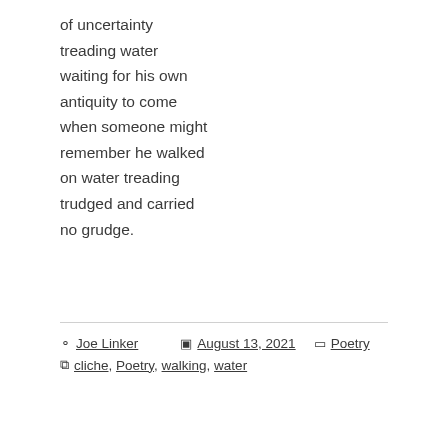of uncertainty
treading water
waiting for his own
antiquity to come
when someone might
remember he walked
on water treading
trudged and carried
no grudge.
Joe Linker  August 13, 2021  Poetry  cliche, Poetry, walking, water